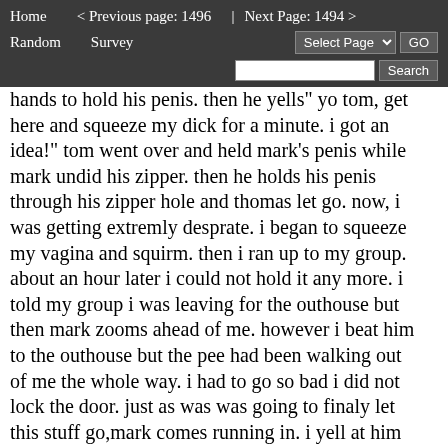Home   < Previous page: 1496  |  Next Page: 1494 >
Random   Survey   [Select Page] GO
[Search box] Search
hands to hold his penis. then he yells" yo tom, get here and squeeze my dick for a minute. i got an idea!" tom went over and held mark's penis while mark undid his zipper. then he holds his penis through his zipper hole and thomas let go. now, i was getting extremly desprate. i began to squeeze my vagina and squirm. then i ran up to my group. about an hour later i could not hold it any more. i told my group i was leaving for the outhouse but then mark zooms ahead of me. however i beat him to the outhouse but the pee had been walking out of me the whole way. i had to go so bad i did not lock the door. just as was was going to finaly let this stuff go,mark comes running in. i yell at him to leave, but he had to go so much, he just push me aside and try getting his pants down but had to keep on stopping to hold himself. then he just gave up on trying to get his small pants down and sat on the box they call a toilet with his pants still on. i just pulled him off since he was already using his pants as a toilet and hurried off my pants and sat on the seat but by that time,i was done peeing. i had just gone in my